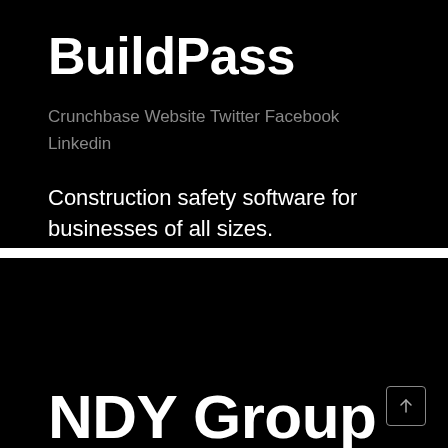BuildPass
Crunchbase Website Twitter Facebook Linkedin
Construction safety software for businesses of all sizes.
NDY Group